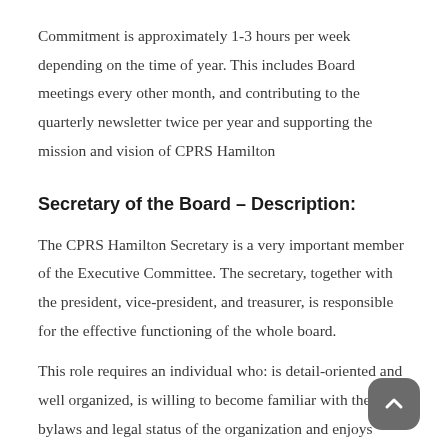Commitment is approximately 1-3 hours per week depending on the time of year. This includes Board meetings every other month, and contributing to the quarterly newsletter twice per year and supporting the mission and vision of CPRS Hamilton
Secretary of the Board – Description:
The CPRS Hamilton Secretary is a very important member of the Executive Committee. The secretary, together with the president, vice-president, and treasurer, is responsible for the effective functioning of the whole board.
This role requires an individual who: is detail-oriented and well organized, is willing to become familiar with the bylaws and legal status of the organization and enjoys record-